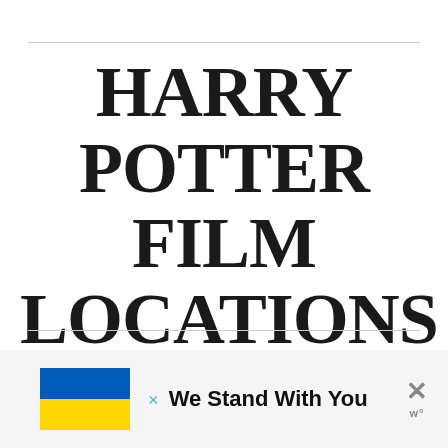HARRY POTTER FILM LOCATIONS IN ENGLAND
[Figure (infographic): Advertisement banner with Ukrainian flag (blue and yellow) and text 'We Stand With You' with a close button and a watermark logo.]